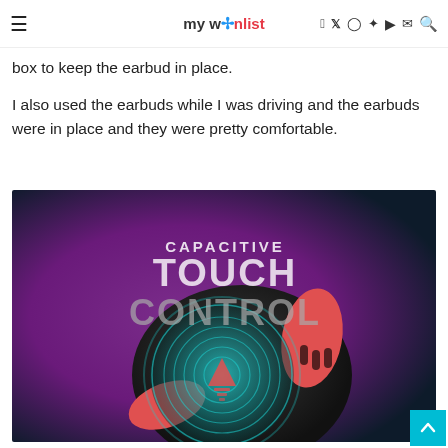≡  mywishlist  f  twitter  instagram  pinterest  youtube  mail  search
box to keep the earbud in place.
I also used the earbuds while I was driving and the earbuds were in place and they were pretty comfortable.
[Figure (photo): Product promotional image showing an earbud with capacitive touch control feature. Text reads 'CAPACITIVE TOUCH CONTROL' over a purple/dark background with a close-up of the earbud touch surface showing fingerprint-like circular lines.]